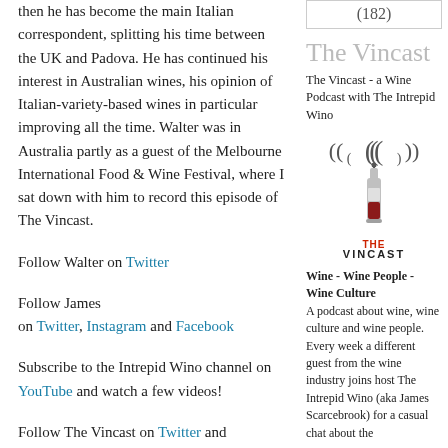then he has become the main Italian correspondent, splitting his time between the UK and Padova. He has continued his interest in Australian wines, his opinion of Italian-variety-based wines in particular improving all the time. Walter was in Australia partly as a guest of the Melbourne International Food & Wine Festival, where I sat down with him to record this episode of The Vincast.
Follow Walter on Twitter
Follow James on Twitter, Instagram and Facebook
Subscribe to the Intrepid Wino channel on YouTube and watch a few videos!
Follow The Vincast on Twitter and download all the previous episodes here
| (182) |
The Vincast
The Vincast - a Wine Podcast with The Intrepid Wino
[Figure (logo): The Vincast logo: a wine bottle with radio signal waves above it and the text THE VINCAST below in stylized letters]
Wine - Wine People - Wine Culture A podcast about wine, wine culture and wine people. Every week a different guest from the wine industry joins host The Intrepid Wino (aka James Scarcebrook) for a casual chat about the